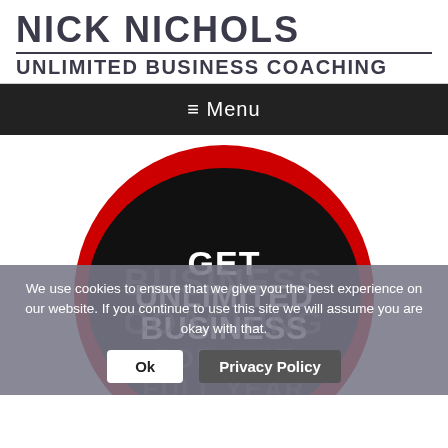NICK NICHOLS
UNLIMITED BUSINESS COACHING
≡ Menu
[Figure (logo): Large circular badge with red outer ring and black inner circle. Text inside reads: GET UNLIMITED BUSINESS. Faded background text reads: BUSINESS COACHING FOR ONE FULL YEAR]
We use cookies to ensure that we give you the best experience on our website. If you continue to use this site we will assume you are okay with that.
Ok    Privacy Policy